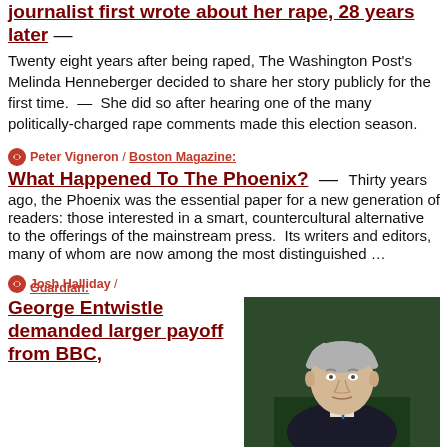journalist first wrote about her rape, 28 years later — Twenty eight years after being raped, The Washington Post's Melinda Henneberger decided to share her story publicly for the first time.  —  She did so after hearing one of the many politically-charged rape comments made this election season.
Peter Vigneron / Boston Magazine:
What Happened To The Phoenix?
—  Thirty years ago, the Phoenix was the essential paper for a new generation of readers: those interested in a smart, countercultural alternative to the offerings of the mainstream press.  Its writers and editors, many of whom are now among the most distinguished …
Josh Halliday / Guardian:
George Entwistle demanded larger payoff from BBC,
[Figure (photo): A grey-haired man in a dark suit and blue tie, sitting in front of a green background, appearing to be at a formal hearing or committee session.]